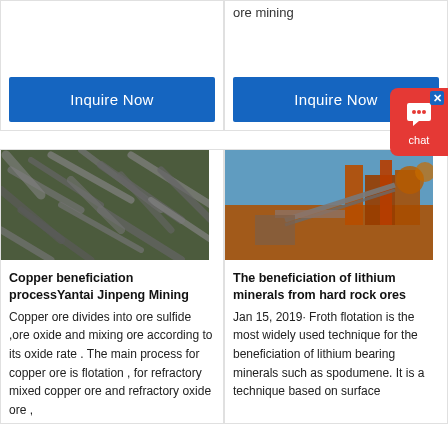ore mining
[Figure (other): Blue Inquire Now button - left column]
[Figure (other): Blue Inquire Now button - right column]
[Figure (photo): Copper ore pellets/cylinders - dark metallic rods piled together]
Copper beneficiation processYantai Jinpeng Mining
Copper ore divides into ore sulfide ,ore oxide and mixing ore according to its oxide rate . The main process for copper ore is flotation , for refractory mixed copper ore and refractory oxide ore ,
[Figure (photo): Mining processing plant/facility with industrial equipment, conveyor belts, orange/red structures against blue sky]
The beneficiation of lithium minerals from hard rock ores
Jan 15, 2019· Froth flotation is the most widely used technique for the beneficiation of lithium bearing minerals such as spodumene. It is a technique based on surface